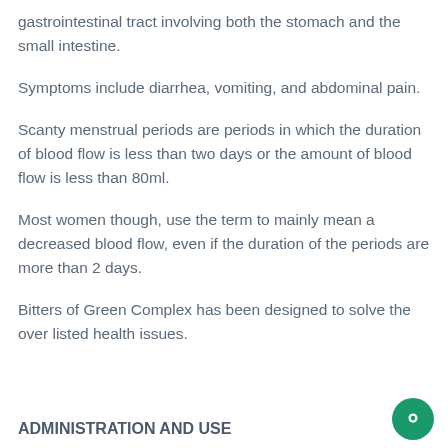gastrointestinal tract involving both the stomach and the small intestine.
Symptoms include diarrhea, vomiting, and abdominal pain.
Scanty menstrual periods are periods in which the duration of blood flow is less than two days or the amount of blood flow is less than 80ml.
Most women though, use the term to mainly mean a decreased blood flow, even if the duration of the periods are more than 2 days.
Bitters of Green Complex has been designed to solve the over listed health issues.
ADMINISTRATION AND USE